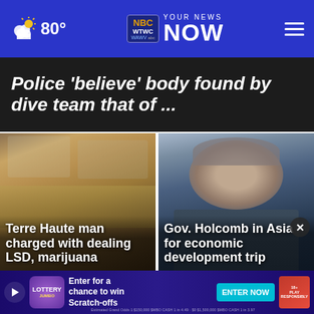80° | YOUR NEWS NOW | WTWC WAWV NBC2
Police 'believe' body found by dive team that of ...
[Figure (photo): Photo of drugs, cash and paraphernalia on a table]
Terre Haute man charged with dealing LSD, marijuana
[Figure (photo): Photo of Governor Holcomb speaking]
Gov. Holcomb in Asia for economic development trip
[Figure (photo): Advertisement banner: Lottery - Enter for a chance to win Scratch-offs - ENTER NOW]